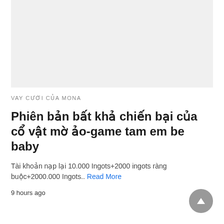[Figure (photo): Light gray placeholder image area at the top of the article]
VAY CƯỚI CỦA MONA
Phiên bản bất khả chiến bại của cổ vật mờ ảo-game tam em be baby
Tài khoản nạp lại 10.000 Ingots+2000 ingots ràng buộc+2000.000 Ingots.. Read More
9 hours ago